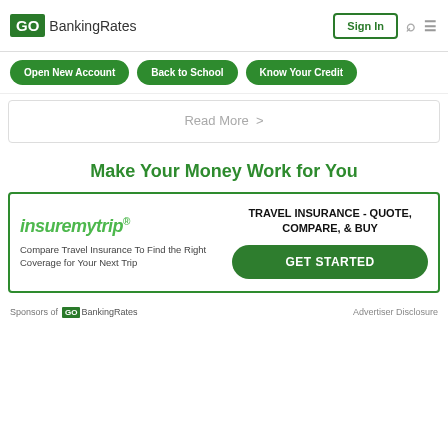GOBankingRates | Sign In
Open New Account
Back to School
Know Your Credit
Read More >
Make Your Money Work for You
[Figure (infographic): insuremytrip advertisement: logo, text 'Compare Travel Insurance To Find the Right Coverage for Your Next Trip', headline 'TRAVEL INSURANCE - QUOTE, COMPARE, & BUY', green GET STARTED button]
Sponsors of GOBankingRates | Advertiser Disclosure